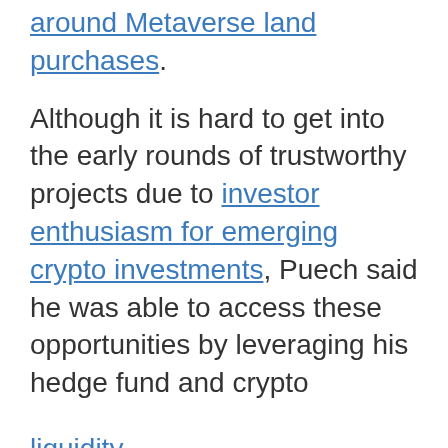around Metaverse land purchases.
Although it is hard to get into the early rounds of trustworthy projects due to investor enthusiasm for emerging crypto investments, Puech said he was able to access these opportunities by leveraging his hedge fund and crypto
liquidity
background to help these protocols secure insurance, custody solutions, and crypto-friendly bank accounts.
“The average ticket that those big companies can give us is between $50,000